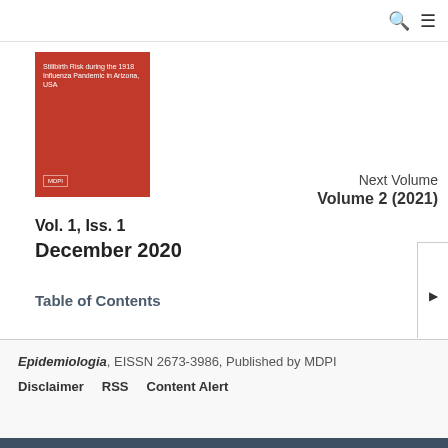[Figure (other): Red journal cover thumbnail for 'Stillbirth Risk during the 1918 Influenza Pandemic in Arizona, USA']
Vol. 1, Iss. 1
December 2020
Table of Contents
Next Volume
Volume 2 (2021)
Epidemiologia, EISSN 2673-3986, Published by MDPI
Disclaimer   RSS   Content Alert